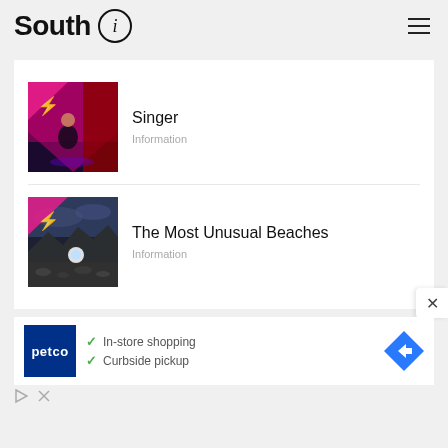South i
Singer
Information
The Most Unusual Beaches
Information
[Figure (screenshot): Petco advertisement showing logo, in-store shopping and curbside pickup checkmarks, and a navigation arrow icon]
In-store shopping
Curbside pickup